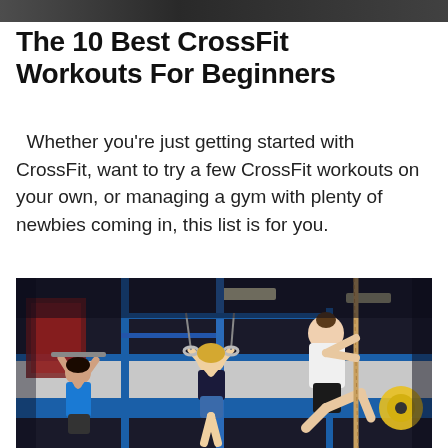[Figure (photo): Dark cropped top banner image of a gym setting]
The 10 Best CrossFit Workouts For Beginners
Whether you're just getting started with CrossFit, want to try a few CrossFit workouts on your own, or managing a gym with plenty of newbies coming in, this list is for you.
[Figure (photo): Athletes in a CrossFit gym climbing ropes and doing gymnastics movements on rigs. The foreground shows a woman climbing a rope, a woman on rings, and a man in a blue shirt. The gym has blue and white walls with red accents.]